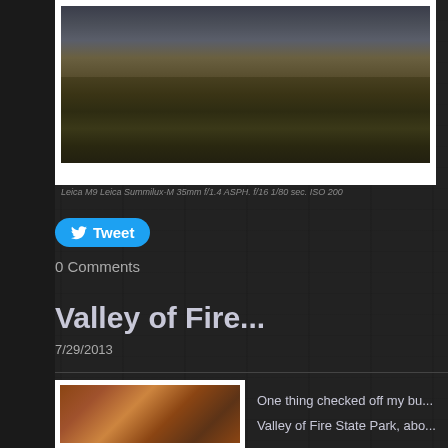[Figure (photo): Landscape photograph of desert scrubland with mountains in background under overcast sky, shown in a white frame]
Leica M9 Leica Summilux-M 35mm f/1.4 ASPH. f/16 1/80 sec. ISO 200
Tweet
0 Comments
Valley of Fire...
7/29/2013
[Figure (photo): Partial view of red rock canyon formation photograph]
One thing checked off my bu...
Valley of Fire State Park, abo...